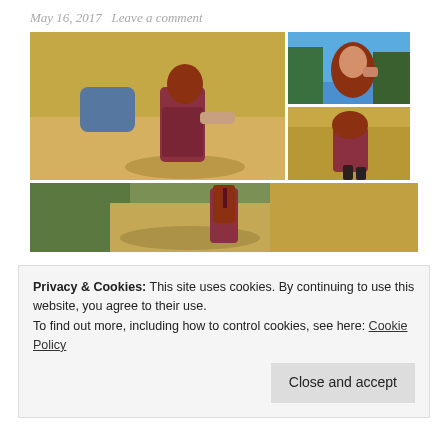May 16, 2017   Leave a comment
[Figure (photo): Collage of four outdoor photos of a red-haired woman in a floral burgundy dress on a dirt trail. Top-left: large photo of woman crouching on dusty hillside with denim jacket nearby. Top-right top: close-up portrait of woman against blue sky. Top-right bottom: woman bending on dry grassy hillside. Bottom: wide photo of woman walking away on dirt path surrounded by greenery.]
Privacy & Cookies: This site uses cookies. By continuing to use this website, you agree to their use.
To find out more, including how to control cookies, see here: Cookie Policy
Close and accept